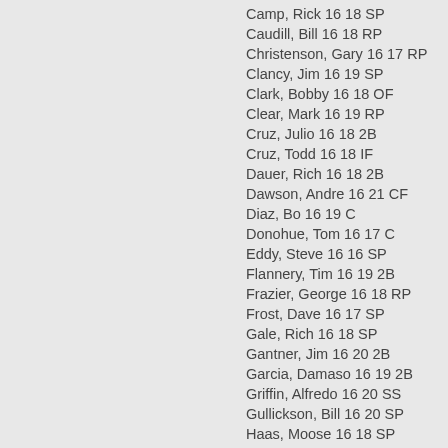Camp, Rick 16 18 SP
Caudill, Bill 16 18 RP
Christenson, Gary 16 17 RP
Clancy, Jim 16 19 SP
Clark, Bobby 16 18 OF
Clear, Mark 16 19 RP
Cruz, Julio 16 18 2B
Cruz, Todd 16 18 IF
Dauer, Rich 16 18 2B
Dawson, Andre 16 21 CF
Diaz, Bo 16 19 C
Donohue, Tom 16 17 C
Eddy, Steve 16 16 SP
Flannery, Tim 16 19 2B
Frazier, George 16 18 RP
Frost, Dave 16 17 SP
Gale, Rich 16 18 SP
Gantner, Jim 16 20 2B
Garcia, Damaso 16 19 2B
Griffin, Alfredo 16 20 SS
Gullickson, Bill 16 20 SP
Haas, Moose 16 18 SP
Heep, Danny 16 19 OF
Henderson, Steve 16 19 OF
Horner, Bob 16 19 3B/1B